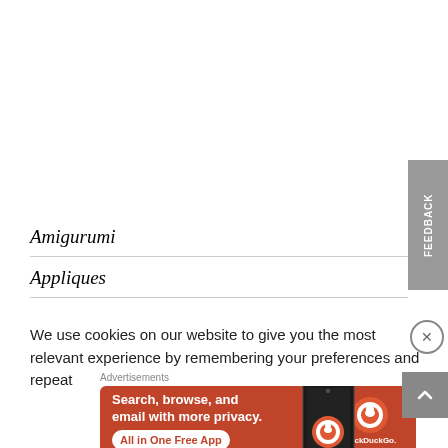Amigurumi
Appliques
We use cookies on our website to give you the most relevant experience by remembering your preferences and repeat
Advertisements
[Figure (infographic): DuckDuckGo advertisement: Search, browse, and email with more privacy. All in One Free App. Shows DuckDuckGo logo and a phone.]